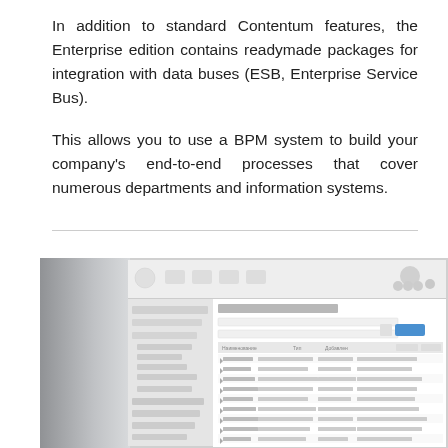In addition to standard Contentum features, the Enterprise edition contains readymade packages for integration with data buses (ESB, Enterprise Service Bus).
This allows you to use a BPM system to build your company's end-to-end processes that cover numerous departments and information systems.
[Figure (screenshot): Screenshot of a Contentum software interface showing a list/table view with navigation panel on the left and data rows in the main content area, displayed on a monitor]